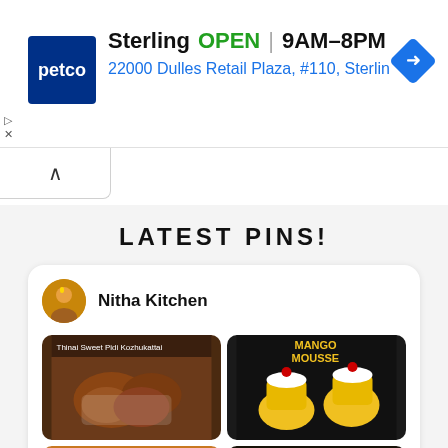[Figure (screenshot): Petco ad banner showing Sterling location, OPEN status, hours 9AM-8PM, address 22000 Dulles Retail Plaza #110, Sterlin, with Petco logo and navigation diamond icon]
[Figure (other): Collapse/chevron up button below the ad banner]
LATEST PINS!
[Figure (screenshot): Pinterest board card for Nitha Kitchen showing four food photos: Thinai Sweet Pidi Kozhukattai, Mango Mousse, Vegan Gingerbread Cookies, and a gingerbread cake]
Nitha Kitchen